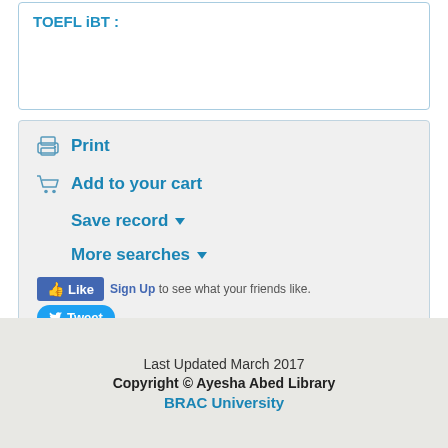TOEFL iBT :
Print
Add to your cart
Save record ▼
More searches ▼
Like  Sign Up to see what your friends like.  Tweet
Share  Tweet
Last Updated March 2017
Copyright © Ayesha Abed Library
BRAC University